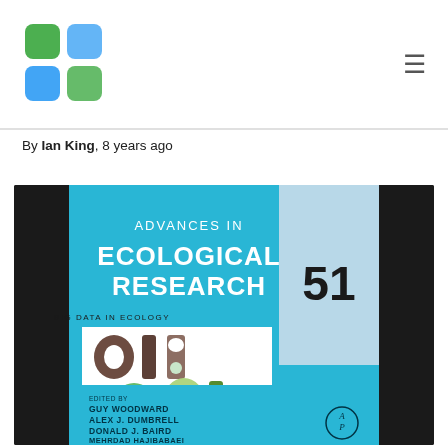By Ian King, 8 years ago
[Figure (photo): Book cover of Advances in Ecological Research Volume 51, Big Data in Ecology. Blue and light blue cover with white title text. Features a photo collage showing nature/ecology images styled as '01 10' binary text. Edited by Guy Woodward, Alex J. Dumbrell, Donald J. Baird, Mehrdad Hajibabaei. Published by Academic Press (AP logo).]